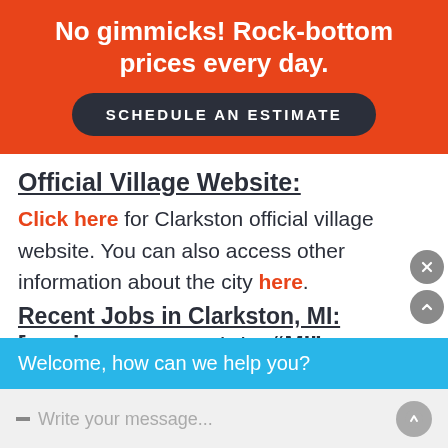No gimmicks! Rock-bottom prices every day.
SCHEDULE AN ESTIMATE
Official Village Website:
Click here for Clarkston official village website. You can also access other information about the city here.
Recent Jobs in Clarkston, MI: [serviceareamap state="MI" city... show... co...
Welcome, how can we help you?
Write your message...
" Their service is outstanding! "